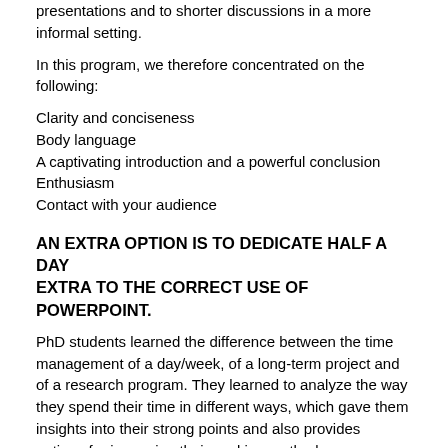presentations and to shorter discussions in a more informal setting.
In this program, we therefore concentrated on the following:
Clarity and conciseness
Body language
A captivating introduction and a powerful conclusion
Enthusiasm
Contact with your audience
AN EXTRA OPTION IS TO DEDICATE HALF A DAY EXTRA TO THE CORRECT USE OF POWERPOINT.
PhD students learned the difference between the time management of a day/week, of a long-term project and of a research program. They learned to analyze the way they spend their time in different ways, which gave them insights into their strong points and also provides options for improving their working method.